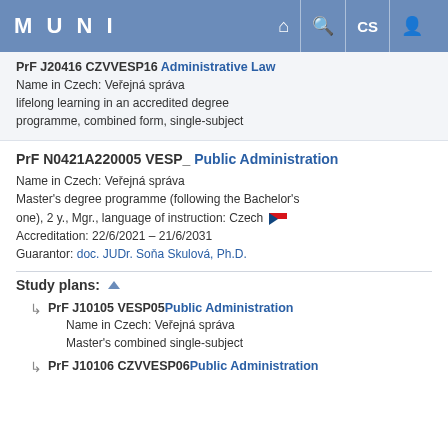MUNI
PrF J20416 CZVVESP16 Administrative Law
Name in Czech: Veřejná správa
lifelong learning in an accredited degree programme, combined form, single-subject
PrF N0421A220005 VESP_ Public Administration
Name in Czech: Veřejná správa
Master's degree programme (following the Bachelor's one), 2 y., Mgr., language of instruction: Czech
Accreditation: 22/6/2021 – 21/6/2031
Guarantor: doc. JUDr. Soňa Skulová, Ph.D.
Study plans:
PrF J10105 VESP05 Public Administration
Name in Czech: Veřejná správa
Master's combined single-subject
PrF J10106 CZVVESP06 Public Administration